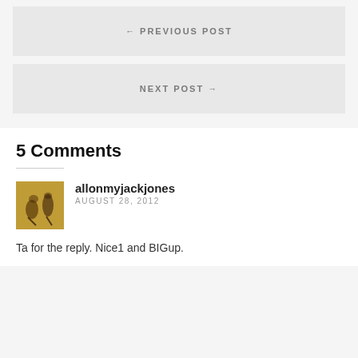← PREVIOUS POST
NEXT POST →
5 Comments
allonmyjackjones
AUGUST 28, 2012
Ta for the reply. Nice1 and BIGup.